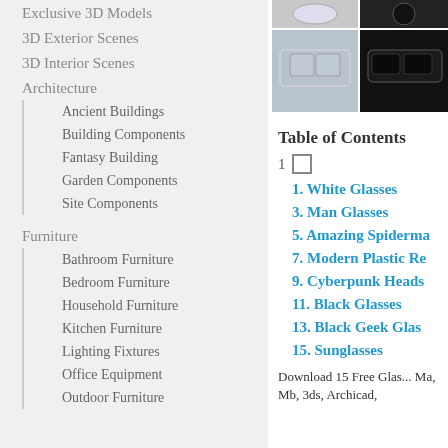Exclusive 3D Models
3D Exterior Scenes
3D Interior Scenes
Architecture
Ancient Buildings
Building Components
Fantasy Building
Garden Components
Site Components
Furniture
Bathroom Furniture
Bedroom Furniture
Household Furniture
Kitchen Furniture
Lighting Fixtures
Office Equipment
Outdoor Furniture
[Figure (photo): Grid of 3D glasses model renders — top left: white glasses on grey, top right: dark circular sunglasses, bottom left: wire-frame glasses on grey-blue background, bottom right: dark sunglasses on black background]
Table of Contents
1 □
1. White Glasses
3. Man Glasses
5. Amazing Spiderma...
7. Modern Plastic Re...
9. Cyberpunk Heads...
11. Black Glasses
13. Black Geek Glas...
15. Sunglasses
Download 15 Free Glas... Ma, Mb, 3ds, Archicad,...